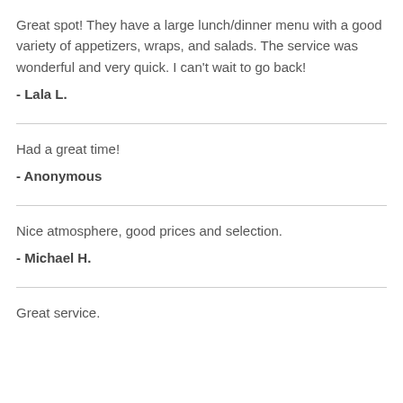Great spot! They have a large lunch/dinner menu with a good variety of appetizers, wraps, and salads. The service was wonderful and very quick. I can't wait to go back!
- Lala L.
Had a great time!
- Anonymous
Nice atmosphere, good prices and selection.
- Michael H.
Great service.